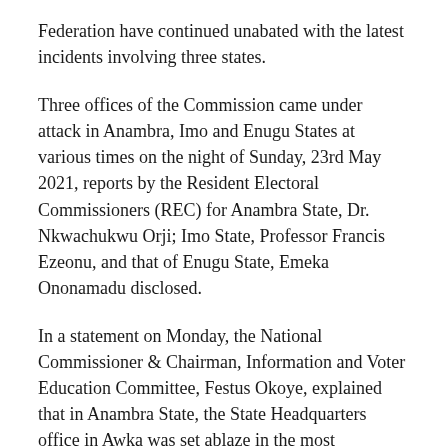Federation have continued unabated with the latest incidents involving three states.
Three offices of the Commission came under attack in Anambra, Imo and Enugu States at various times on the night of Sunday, 23rd May 2021, reports by the Resident Electoral Commissioners (REC) for Anambra State, Dr. Nkwachukwu Orji; Imo State, Professor Francis Ezeonu, and that of Enugu State, Emeka Ononamadu disclosed.
In a statement on Monday, the National Commissioner & Chairman, Information and Voter Education Committee, Festus Okoye, explained that in Anambra State, the State Headquarters office in Awka was set ablaze in the most devastating onslaught on the Commission's facilities so far.